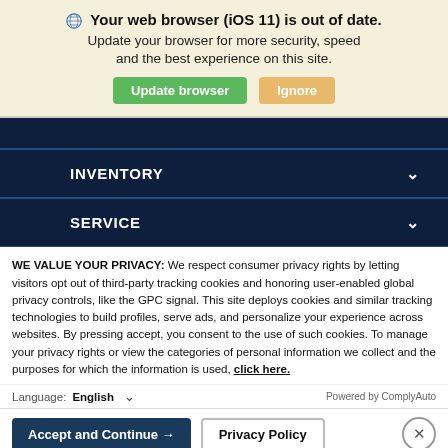[Figure (screenshot): Browser update warning banner with globe icon, bold title text, subtitle, and two buttons: 'Update browser' (green) and 'Ignore' (orange/tan)]
INVENTORY
SERVICE
WE VALUE YOUR PRIVACY: We respect consumer privacy rights by letting visitors opt out of third-party tracking cookies and honoring user-enabled global privacy controls, like the GPC signal. This site deploys cookies and similar tracking technologies to build profiles, serve ads, and personalize your experience across websites. By pressing accept, you consent to the use of such cookies. To manage your privacy rights or view the categories of personal information we collect and the purposes for which the information is used, click here.
Language: English    Powered by ComplyAuto
Accept and Continue →    Privacy Policy